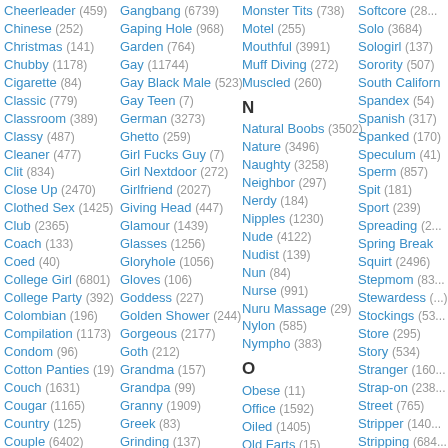Cheerleader (459)
Chinese (252)
Christmas (141)
Chubby (1178)
Cigarette (84)
Classic (779)
Classroom (389)
Classy (487)
Cleaner (477)
Clit (834)
Close Up (2470)
Clothed Sex (1425)
Club (2365)
Coach (133)
Coed (40)
College Girl (6801)
College Party (392)
Colombian (196)
Compilation (1173)
Condom (96)
Cotton Panties (19)
Couch (1631)
Cougar (1165)
Country (125)
Couple (6402)
Cowgirl (1760)
Creampie (4484)
Creampie Compilation (19)
Creampie Eating (5)
Crossdressing (264)
Cuckold (1206)
Gangbang (6739)
Gaping Hole (968)
Garden (764)
Gay (11744)
Gay Black Male (523)
Gay Teen (7)
German (3273)
Ghetto (259)
Girl Fucks Guy (7)
Girl Nextdoor (272)
Girlfriend (2027)
Giving Head (447)
Glamour (1439)
Glasses (1256)
Gloryhole (1056)
Gloves (106)
Goddess (227)
Golden Shower (244)
Gorgeous (2177)
Goth (212)
Grandma (157)
Grandpa (99)
Granny (1909)
Greek (83)
Grinding (137)
Groping (103)
Group Orgy (296)
Group Sex (11328)
Gym (451)
Gymnast (135)
Gynecologist (79)
Gyno Exam (65)
Monster Tits (738)
Motel (255)
Mouthful (3991)
Muff Diving (272)
Muscled (260)
N
Natural Boobs (3502)
Nature (3496)
Naughty (3258)
Neighbor (297)
Nerdy (184)
Nipples (1230)
Nude (4122)
Nudist (139)
Nun (84)
Nurse (991)
Nuru Massage (29)
Nylon (585)
Nympho (383)
O
Obese (11)
Office (1592)
Oiled (1405)
Old Farts (15)
Old Man (480)
Old Vs. Young (196)
On Her Knees (991)
On Top (535)
Open Pussy (26)
Oral (6637)
Softcore (28...)
Solo (3684)
Sologirl (137)
Sorority (507)
South Californ...
Spandex (54)
Spanish (317)
Spanked (170)
Speculum (41)
Sperm (857)
Spit (181)
Sport (239)
Spreading (2...)
Spring Break
Squirt (2496)
Stepmom (83...)
Stewardess (...)
Stockings (53...)
Store (295)
Story (534)
Stranger (160...)
Strap-on (238...)
Street (765)
Stripper (140...)
Stripping (684...)
Stroking (117...)
Stud (3790)
Student (335...)
Stupid Girl (1...)
Submissive (...)
Sucking (210...)
Surprise (575...)
Swedis...